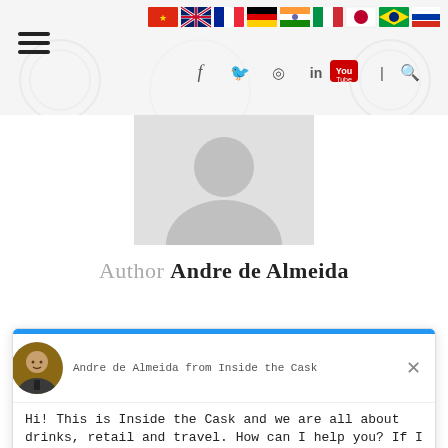[Figure (screenshot): Website header with hamburger menu, country flag icons (China, UK, France, Germany, India, Italy, Japan, Brazil, Russia, Spain), and social media icons (Facebook, Twitter, Instagram, LinkedIn, YouTube, Search)]
[Figure (photo): Gray placeholder profile image showing silhouette of a person's head and shoulders]
Author Andre de Almeida
[Figure (screenshot): Chat widget from Drift showing profile photo of Andre de Almeida, greeting message: Hi! This is Inside the Cask and we are all about drinks, retail and travel. How can I help you? If I don't reply in 5mins, leave your email. Reply input field. Chat by Drift footer.]